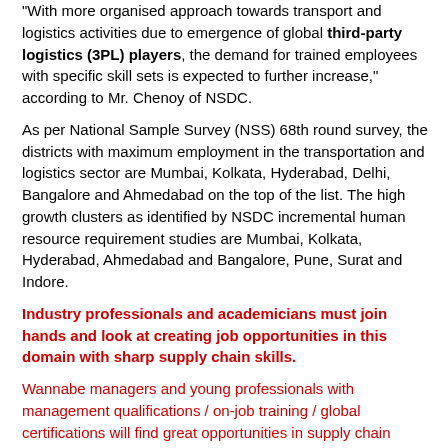"With more organised approach towards transport and logistics activities due to emergence of global third-party logistics (3PL) players, the demand for trained employees with specific skill sets is expected to further increase," according to Mr. Chenoy of NSDC.
As per National Sample Survey (NSS) 68th round survey, the districts with maximum employment in the transportation and logistics sector are Mumbai, Kolkata, Hyderabad, Delhi, Bangalore and Ahmedabad on the top of the list. The high growth clusters as identified by NSDC incremental human resource requirement studies are Mumbai, Kolkata, Hyderabad, Ahmedabad and Bangalore, Pune, Surat and Indore.
Industry professionals and academicians must join hands and look at creating job opportunities in this domain with sharp supply chain skills.
Wannabe managers and young professionals with management qualifications / on-job training / global certifications will find great opportunities in supply chain considering phenomenal growth in brick–n-mortar and e-commerce in India.  Supply chain education, training and recognition as being done by ISCEA SCNext globally,  is